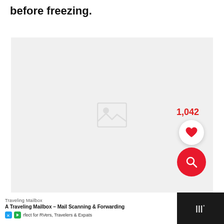Squeeze as much air from the bag as possible before freezing.
[Figure (photo): Large light gray image placeholder area with a faint image icon in the center. Overlaid UI elements: a red like count '1,042', a white circular heart/favorite button, and a red circular search/magnify button in the bottom-right corner.]
[Figure (screenshot): Dark advertisement bar at the bottom showing 'Traveling Mailbox' ad with text 'A Traveling Mailbox - Mail Scanning & Forwarding' and 'rfect for RVers, Travelers & Expats', along with social icons and a dark right panel with white logo marks.]